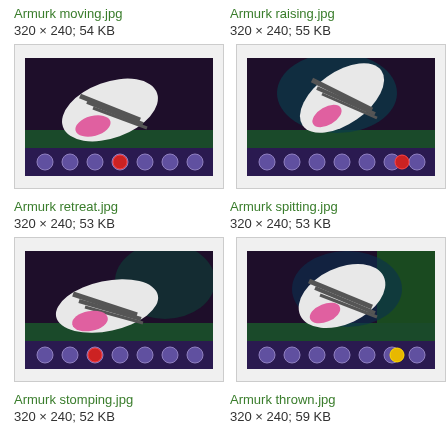Armurk moving.jpg
320 × 240; 54 KB
Armurk raising.jpg
320 × 240; 55 KB
[Figure (screenshot): Game screenshot showing Armurk retreating, dark underwater scene with creature]
[Figure (screenshot): Game screenshot showing Armurk spitting, dark underwater scene with creature]
Armurk retreat.jpg
320 × 240; 53 KB
Armurk spitting.jpg
320 × 240; 53 KB
[Figure (screenshot): Game screenshot showing Armurk stomping, dark underwater scene with creature]
[Figure (screenshot): Game screenshot showing Armurk thrown, dark underwater scene with creature]
Armurk stomping.jpg
320 × 240; 52 KB
Armurk thrown.jpg
320 × 240; 59 KB